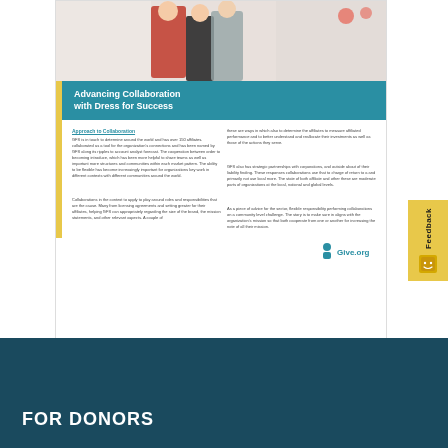[Figure (screenshot): Preview of a document titled 'Advancing Collaboration with Dress for Success' showing a teal header bar, a photo of people at top, two-column text body, and Give.org logo at bottom]
Download your copy of the interview
FOR DONORS